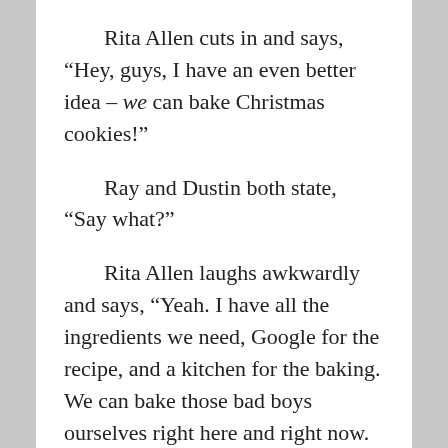Rita Allen cuts in and says, “Hey, guys, I have an even better idea – we can bake Christmas cookies!”
Ray and Dustin both state, “Say what?”
Rita Allen laughs awkwardly and says, “Yeah. I have all the ingredients we need, Google for the recipe, and a kitchen for the baking. We can bake those bad boys ourselves right here and right now. It will have much more meaning behind it.”